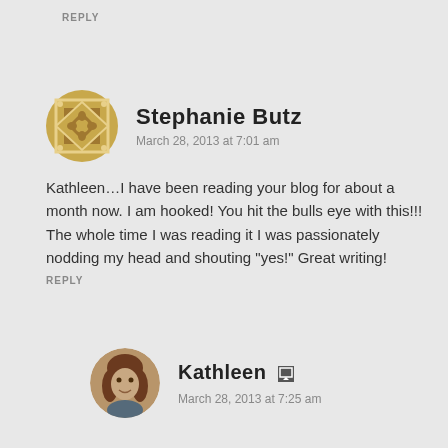REPLY
Stephanie Butz
March 28, 2013 at 7:01 am
Kathleen…I have been reading your blog for about a month now. I am hooked! You hit the bulls eye with this!!! The whole time I was reading it I was passionately nodding my head and shouting "yes!" Great writing!
REPLY
Kathleen
March 28, 2013 at 7:25 am